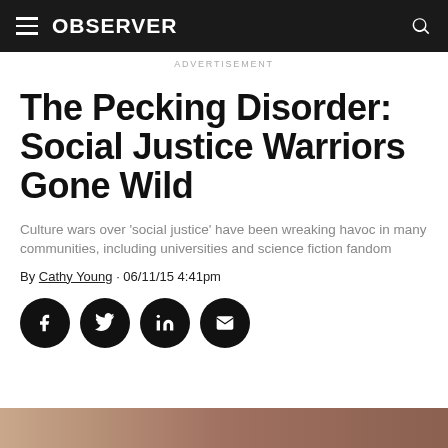OBSERVER
ADVERTISEMENT
The Pecking Disorder: Social Justice Warriors Gone Wild
Culture wars over 'social justice' have been wreaking havoc in many communities, including universities and science fiction fandom
By Cathy Young · 06/11/15 4:41pm
[Figure (other): Social media share buttons: Facebook, Twitter, LinkedIn, Email]